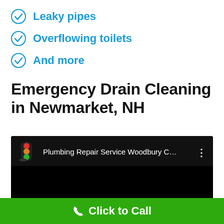Leaky pipes
Overflowing toilets
And more
Emergency Drain Cleaning in Newmarket, NH
[Figure (screenshot): YouTube video thumbnail with traffic light icon and title 'Plumbing Repair Service Woodbury C...' on black background]
Click to Call